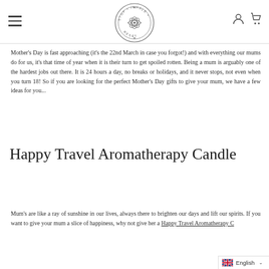Stop Inhale Reset - navigation header with logo, hamburger menu, user and cart icons
Mother's Day is fast approaching (it's the 22nd March in case you forgot!) and with everything our mums do for us, it's that time of year when it is their turn to get spoiled rotten. Being a mum is arguably one of the hardest jobs out there. It is 24 hours a day, no breaks or holidays, and it never stops, not even when you turn 18! So if you are looking for the perfect Mother's Day gifts to give your mum, we have a few ideas for you...
Happy Travel Aromatherapy Candle
Mum's are like a ray of sunshine in our lives, always there to brighten our days and lift our spirits. If you want to give your mum a slice of happiness, why not give her a Happy Travel Aromatherapy Candle...